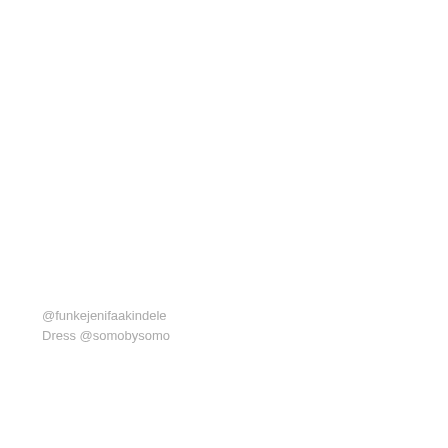@funkejenifaakindele
Dress @somobysomo